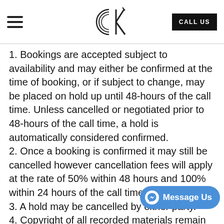Creative Kicks Media — navigation header with hamburger menu, CK logo, and CALL US button
1. Bookings are accepted subject to availability and may either be confirmed at the time of booking, or if subject to change, may be placed on hold up until 48-hours of the call time. Unless cancelled or negotiated prior to 48-hours of the call time, a hold is automatically considered confirmed.
2. Once a booking is confirmed it may still be cancelled however cancellation fees will apply at the rate of 50% within 48 hours and 100% within 24 hours of the call time.
3. A hold may be cancelled by either party.
4. Copyright of all recorded materials remain the property of Creative Kicks Media until full & final payment has been received.
5. Payment terms are strictly 14 days from invoice
6. Late payment may result in late fees being charged